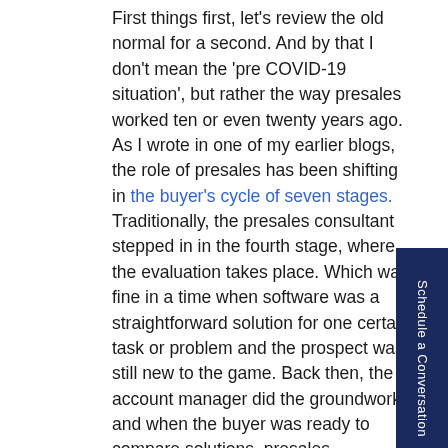First things first, let's review the old normal for a second. And by that I don't mean the 'pre COVID-19 situation', but rather the way presales worked ten or even twenty years ago. As I wrote in one of my earlier blogs, the role of presales has been shifting in the buyer's cycle of seven stages. Traditionally, the presales consultant stepped in in the fourth stage, where the evaluation takes place. Which was fine in a time when software was a straightforward solution for one certain task or problem and the prospect was still new to the game. Back then, the account manager did the groundwork and when the buyer was ready to compare solutions, presales presented a smashing demo to prove the solution's worth. It was all about filling in the practical details, so to say.
Software as added value for shaping a company's vision
Nowadays, software is increasingly used to automate